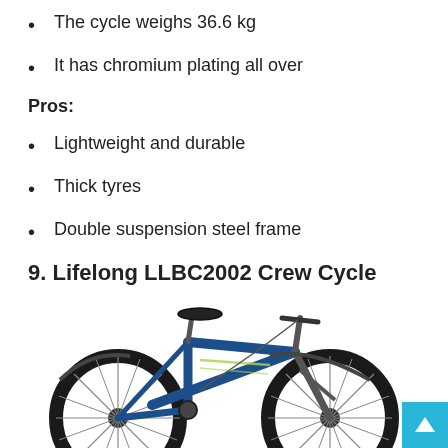The cycle weighs 36.6 kg
It has chromium plating all over
Pros:
Lightweight and durable
Thick tyres
Double suspension steel frame
9. Lifelong LLBC2002 Crew Cycle
[Figure (photo): Photo of a blue Lifelong LLBC2002 Crew Cycle bicycle, partially visible at the bottom of the page]